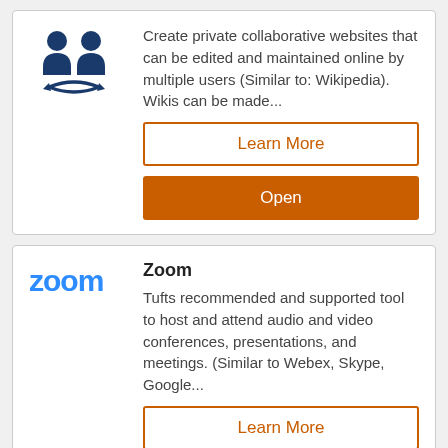[Figure (logo): Blue wiki/collaboration icon with two figures and circular arrows]
Create private collaborative websites that can be edited and maintained online by multiple users (Similar to: Wikipedia). Wikis can be made...
Learn More
Open
[Figure (logo): Zoom logo in blue text]
Zoom
Tufts recommended and supported tool to host and attend audio and video conferences, presentations, and meetings. (Similar to Webex, Skype, Google...
Learn More